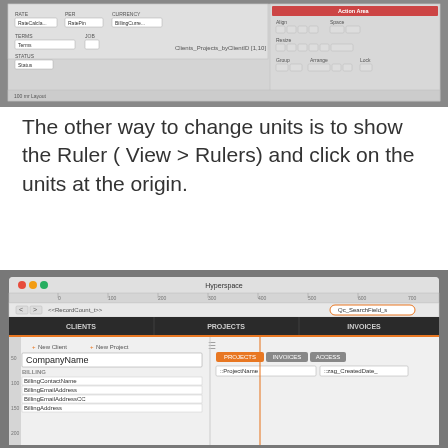[Figure (screenshot): Screenshot of a FileMaker Pro layout editor window showing fields for Rate, Per, Currency, Terms, Job, Status with panel showing Clients, Projects by ClientID list and action/align controls on the right]
The other way to change units is to show the Ruler ( View > Rulers) and click on the units at the origin.
[Figure (screenshot): Screenshot of a FileMaker Pro database window showing a dark navigation bar with CLIENTS, PROJECTS, INVOICES tabs, a ruler at top, CompanyName field on the left, BILLING section with BillingContactName, BillingEmailAddress, BillingEmailAddressCC, BillingAddress fields, and on the right PROJECTS/INVOICES/ACCESS sub-tabs with ::ProjectName and ::zag_CreatedDate fields]